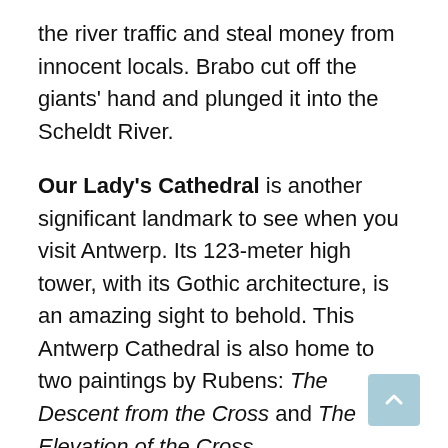the river traffic and steal money from innocent locals. Brabo cut off the giants' hand and plunged it into the Scheldt River.
Our Lady's Cathedral is another significant landmark to see when you visit Antwerp. Its 123-meter high tower, with its Gothic architecture, is an amazing sight to behold. This Antwerp Cathedral is also home to two paintings by Rubens: The Descent from the Cross and The Elevation of the Cross.